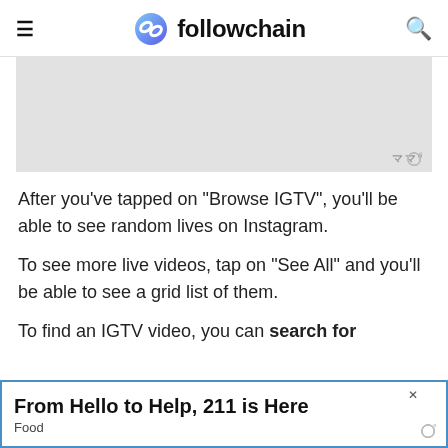followchain
[Figure (screenshot): Gray placeholder/ad banner image area with watermark icon at bottom right]
After you’ve tapped on “Browse IGTV”, you’ll be able to see random lives on Instagram.
To see more live videos, tap on “See All” and you’ll be able to see a grid list of them.
To find an IGTV video, you can search for
[Figure (screenshot): Advertisement banner: From Hello to Help, 211 is Here — Food]